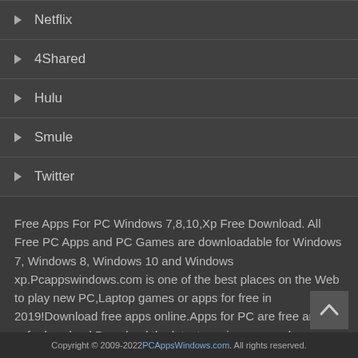Netflix
4Shared
Hulu
Smule
Twitter
Free Apps For PC Windows 7,8,10,Xp Free Download. All Free PC Apps and PC Games are downloadable for Windows 7, Windows 8, Windows 10 and Windows xp.Pcappswindows.com is one of the best places on the Web to play new PC,Laptop games or apps for free in 2019!Download free apps online.Apps for PC are free and safe download.Download the latest version apps apk games for PC.Download APK/APPS/Games For PC,Android And Tablet.Free Apk Downloader For PC and Android.
Copyright © 2009-2022 PCAppsWindows.com . All rights reserved.